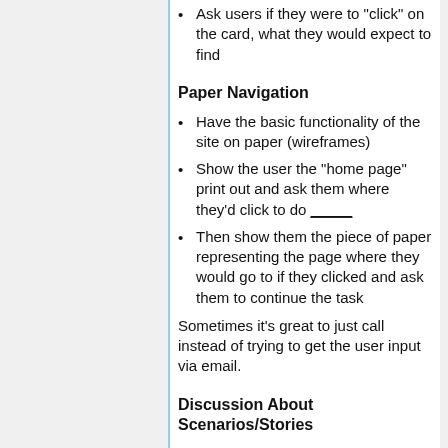Ask users if they were to "click" on the card, what they would expect to find
Paper Navigation
Have the basic functionality of the site on paper (wireframes)
Show the user the "home page" print out and ask them where they'd click to do _____
Then show them the piece of paper representing the page where they would go to if they clicked and ask them to continue the task
Sometimes it's great to just call instead of trying to get the user input via email.
Discussion About Scenarios/Stories
Greg mentions a